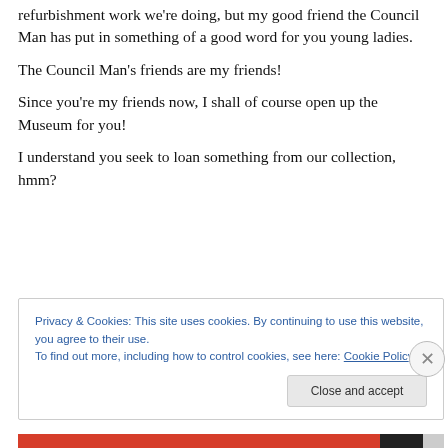Sadly, we're closed right now because of all the refurbishment work we're doing, but my good friend the Council Man has put in something of a good word for you young ladies.
The Council Man's friends are my friends!
Since you're my friends now, I shall of course open up the Museum for you!
I understand you seek to loan something from our collection, hmm?
Privacy & Cookies: This site uses cookies. By continuing to use this website, you agree to their use.
To find out more, including how to control cookies, see here: Cookie Policy